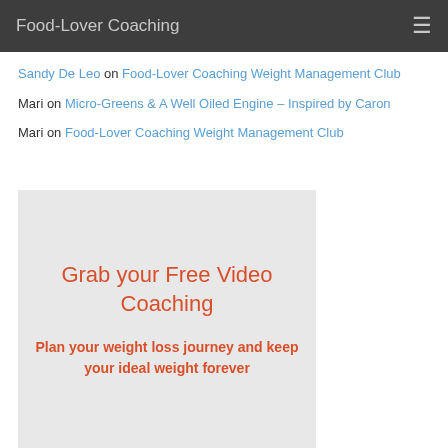Food-Lover Coaching
Sandy De Leo on Food-Lover Coaching Weight Management Club
Mari on Micro-Greens & A Well Oiled Engine – Inspired by Caron
Mari on Food-Lover Coaching Weight Management Club
[Figure (infographic): Promotional box with light gray background containing red text: 'Grab your Free Video Coaching' and 'Plan your weight loss journey and keep your ideal weight forever']